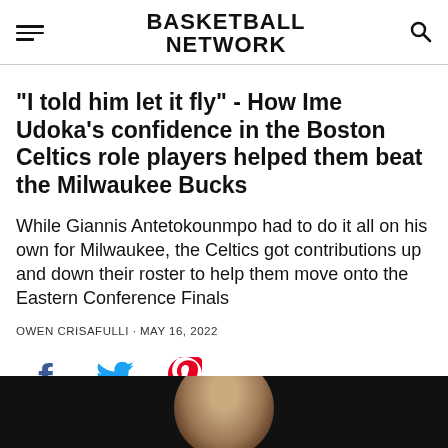BASKETBALL NETWORK
"I told him let it fly" - How Ime Udoka's confidence in the Boston Celtics role players helped them beat the Milwaukee Bucks
While Giannis Antetokounmpo had to do it all on his own for Milwaukee, the Celtics got contributions up and down their roster to help them move onto the Eastern Conference Finals
OWEN CRISAFULLI • MAY 16, 2022
[Figure (other): Social share icons: Facebook (blue), Twitter (blue), Pinterest (red)]
[Figure (photo): Photo of a person (likely Ime Udoka or related subject) against a dark background, partially visible at the bottom of the page]